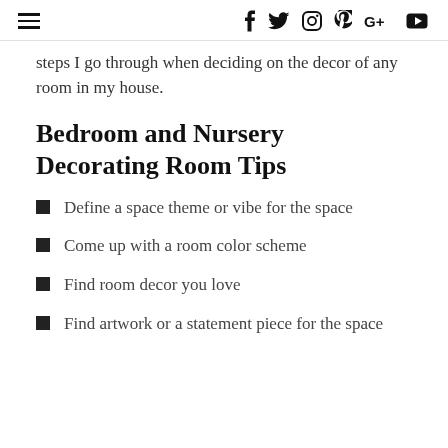≡ f 🐦 📷 ℗ G+ ▶
steps I go through when deciding on the decor of any room in my house.
Bedroom and Nursery Decorating Room Tips
Define a space theme or vibe for the space
Come up with a room color scheme
Find room decor you love
Find artwork or a statement piece for the space